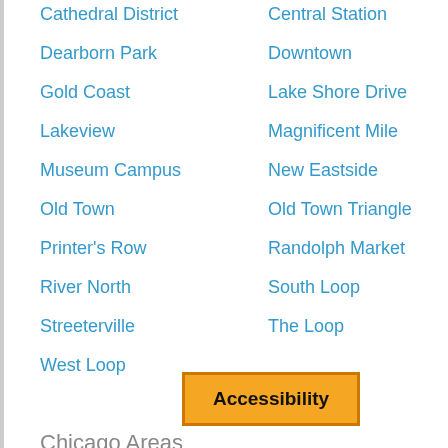Cathedral District
Central Station
Dearborn Park
Downtown
Gold Coast
Lake Shore Drive
Lakeview
Magnificent Mile
Museum Campus
New Eastside
Old Town
Old Town Triangle
Printer's Row
Randolph Market
River North
South Loop
Streeterville
The Loop
West Loop
Accessibility
Chicago Areas